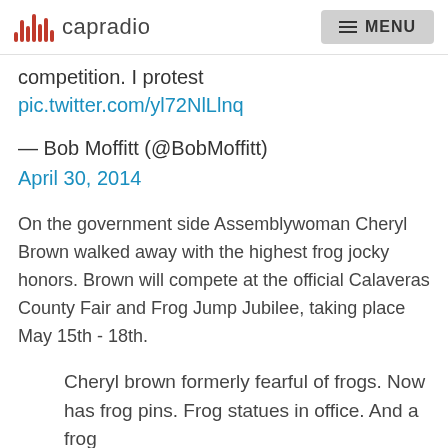capradio  MENU
competition. I protest pic.twitter.com/yl72NlLlnq
— Bob Moffitt (@BobMoffitt) April 30, 2014
On the government side Assemblywoman Cheryl Brown walked away with the highest frog jocky honors. Brown will compete at the official Calaveras County Fair and Frog Jump Jubilee, taking place May 15th - 18th.
Cheryl brown formerly fearful of frogs. Now has frog pins. Frog statues in office. And a frog